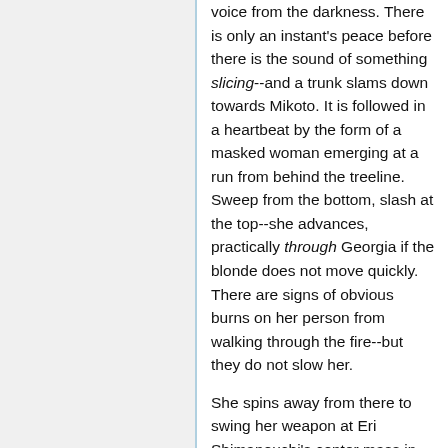voice from the darkness. There is only an instant's peace before there is the sound of something slicing--and a trunk slams down towards Mikoto. It is followed in a heartbeat by the form of a masked woman emerging at a run from behind the treeline. Sweep from the bottom, slash at the top--she advances, practically through Georgia if the blonde does not move quickly. There are signs of obvious burns on her person from walking through the fire--but they do not slow her.
She spins away from there to swing her weapon at Eri Shimanouchi's center mass in passing, before throwing both arms forward, polearm parallel with the ground--as the blade segments, snaking outward like a chain to grip Homura Akemi and if it can, slam her into a tree